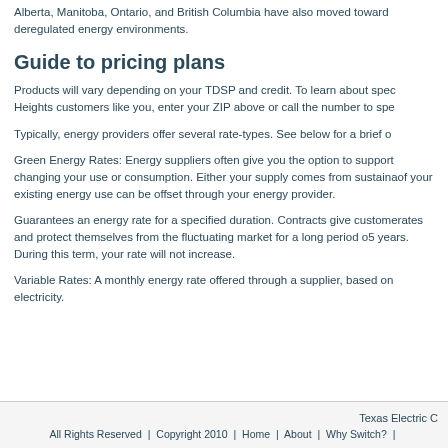Alberta, Manitoba, Ontario, and British Columbia have also moved toward deregulated energy environments.
Guide to pricing plans
Products will vary depending on your TDSP and credit. To learn about specific products for Heights customers like you, enter your ZIP above or call the number to spe...
Typically, energy providers offer several rate-types. See below for a brief o...
Green Energy Rates: Energy suppliers often give you the option to support... changing your use or consumption. Either your supply comes from sustaina... of your existing energy use can be offset through your energy provider.
Guarantees an energy rate for a specified duration. Contracts give custome... rates and protect themselves from the fluctuating market for a long period o... 5 years. During this term, your rate will not increase.
Variable Rates: A monthly energy rate offered through a supplier, based on... electricity.
Texas Electric C... | All Rights Reserved | Copyright 2010 | Home | About | Why Switch? |